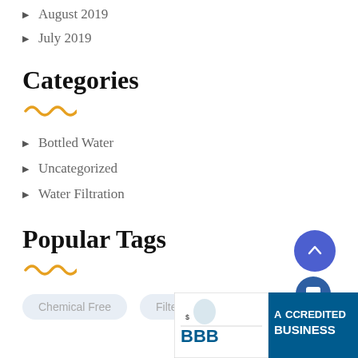August 2019
July 2019
Categories
Bottled Water
Uncategorized
Water Filtration
Popular Tags
Chemical Free
Filteration
[Figure (logo): BBB Accredited Business badge with blue background on right side]